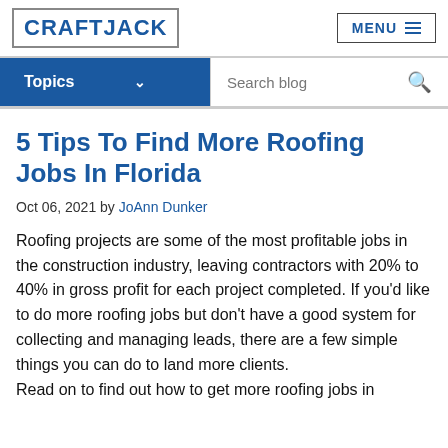CRAFTJACK | MENU
Topics | Search blog
5 Tips To Find More Roofing Jobs In Florida
Oct 06, 2021 by JoAnn Dunker
Roofing projects are some of the most profitable jobs in the construction industry, leaving contractors with 20% to 40% in gross profit for each project completed. If you'd like to do more roofing jobs but don't have a good system for collecting and managing leads, there are a few simple things you can do to land more clients. Read on to find out how to get more roofing jobs in